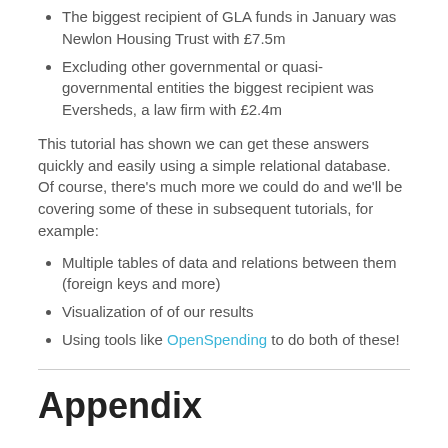The biggest recipient of GLA funds in January was Newlon Housing Trust with £7.5m
Excluding other governmental or quasi-governmental entities the biggest recipient was Eversheds, a law firm with £2.4m
This tutorial has shown we can get these answers quickly and easily using a simple relational database. Of course, there's much more we could do and we'll be covering some of these in subsequent tutorials, for example:
Multiple tables of data and relations between them (foreign keys and more)
Visualization of of our results
Using tools like OpenSpending to do both of these!
Appendix